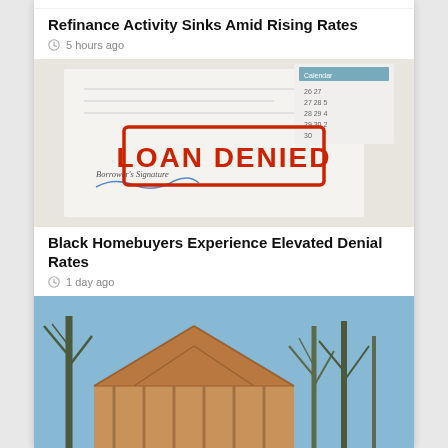Refinance Activity Sinks Amid Rising Rates
5 hours ago
[Figure (photo): A document with a red 'LOAN DENIED' stamp over a borrower's signature line, with a calendar in the background.]
Black Homebuyers Experience Elevated Denial Rates
1 day ago
[Figure (photo): A house under construction with wooden framing, surrounded by bare trees against a blue sky.]